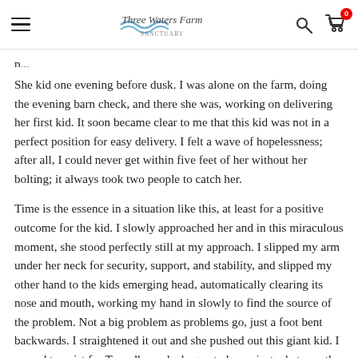Three Waters Farm [logo with navigation icons]
She kid one evening before dusk. I was alone on the farm, doing the evening barn check, and there she was, working on delivering her first kid. It soon became clear to me that this kid was not in a perfect position for easy delivery. I felt a wave of hopelessness; after all, I could never get within five feet of her without her bolting; it always took two people to catch her.
Time is the essence in a situation like this, at least for a positive outcome for the kid. I slowly approached her and in this miraculous moment, she stood perfectly still at my approach. I slipped my arm under her neck for security, support, and stability, and slipped my other hand to the kids emerging head, automatically clearing its nose and mouth, working my hand in slowly to find the source of the problem. Not a big problem as problems go, just a foot bent backwards. I straightened it out and she pushed out this giant kid. I ceased to exist for Tweedle as she began to know just what was the most important thing for her to do.
I was apprehensive about the coming battle of milking her...